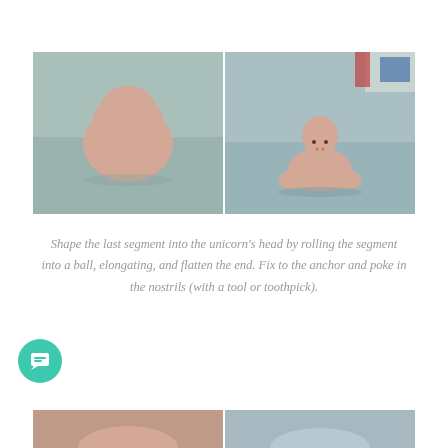[Figure (photo): Two side-by-side photos: left photo shows a smooth pink clay blob/head shape on a grey-blue surface; right photo shows a small clay unicorn figure (head, body, legs) assembled on a grey-blue surface with craft supplies in the background.]
Shape the last segment into the unicorn's head by rolling the segment into a ball, elongating, and flatten the end. Fix to the anchor and poke in the nostrils (with a tool or toothpick).
[Figure (photo): Partial view of two more photos at the bottom of the page, partially cropped.]